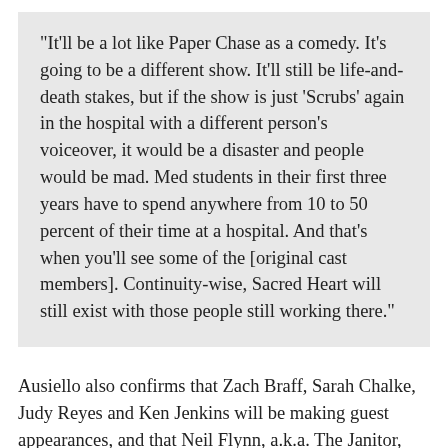"It'll be a lot like Paper Chase as a comedy. It's going to be a different show. It'll still be life-and-death stakes, but if the show is just 'Scrubs' again in the hospital with a different person's voiceover, it would be a disaster and people would be mad. Med students in their first three years have to spend anywhere from 10 to 50 percent of their time at a hospital. And that's when you'll see some of the [original cast members]. Continuity-wise, Sacred Heart will still exist with those people still working there."
Ausiello also confirms that Zach Braff, Sarah Chalke, Judy Reyes and Ken Jenkins will be making guest appearances, and that Neil Flynn, a.k.a. The Janitor, will not be popping up for the foreseeable future, due to his commitments on his own new series (“The Middle”). Beyond McGinley and Faison, however, the majority of